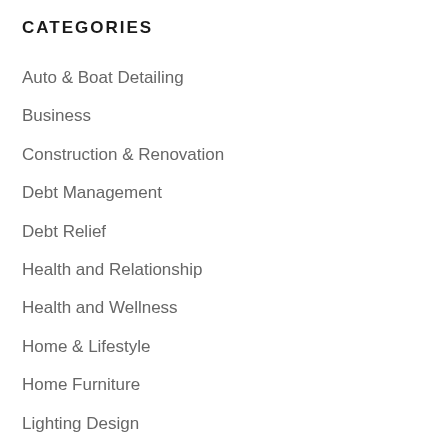CATEGORIES
Auto & Boat Detailing
Business
Construction & Renovation
Debt Management
Debt Relief
Health and Relationship
Health and Wellness
Home & Lifestyle
Home Furniture
Lighting Design
Marketing